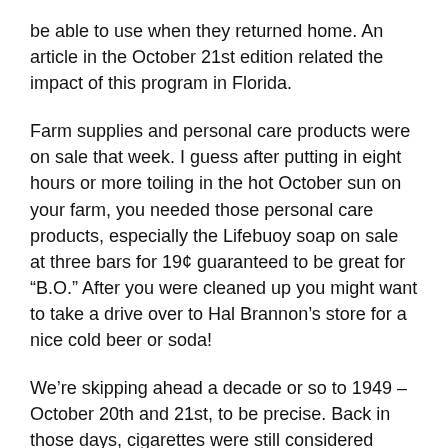be able to use when they returned home. An article in the October 21st edition related the impact of this program in Florida.
Farm supplies and personal care products were on sale that week. I guess after putting in eight hours or more toiling in the hot October sun on your farm, you needed those personal care products, especially the Lifebuoy soap on sale at three bars for 19¢ guaranteed to be great for “B.O.” After you were cleaned up you might want to take a drive over to Hal Brannon’s store for a nice cold beer or soda!
We’re skipping ahead a decade or so to 1949 – October 20th and 21st, to be precise. Back in those days, cigarettes were still considered harmless, as evidenced by the ads in the paper stating that a thirty-day study by a leading throat specialist had shown “not one single case of throat